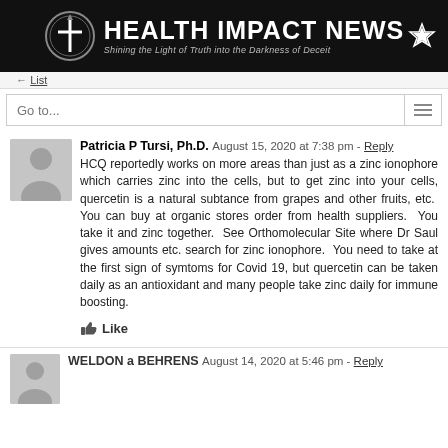[Figure (logo): Health Impact News logo with circular cross emblem and star on black background, tagline: Shining the Light of Truth into the Darkness of Deceit]
Go to...
Patricia P Tursi, Ph.D.  August 15, 2020 at 7:38 pm - Reply

HCQ reportedly works on more areas than just as a zinc ionophore which carries zinc into the cells, but to get zinc into your cells, quercetin is a natural subtance from grapes and other fruits, etc.  You can buy at organic stores order from health suppliers.  You take it and zinc together.  See Orthomolecular Site where Dr Saul gives amounts etc. search for zinc ionophore.  You need to take at the first sign of symtoms for Covid 19, but quercetin can be taken daily as an antioxidant and many people take zinc daily for immune boosting.
Like
WELDON a BEHRENS  August 14, 2020 at 5:46 pm - Reply